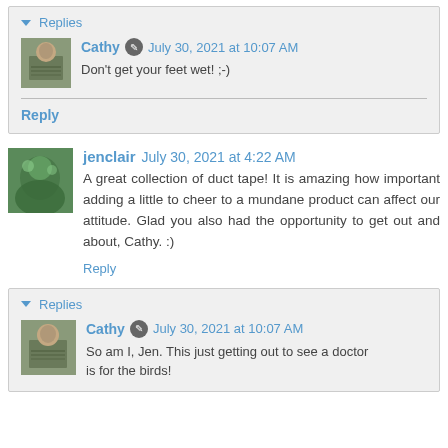▾ Replies
Cathy ✎ July 30, 2021 at 10:07 AM
Don't get your feet wet! ;-)
Reply
jenclair July 30, 2021 at 4:22 AM
A great collection of duct tape! It is amazing how important adding a little to cheer to a mundane product can affect our attitude. Glad you also had the opportunity to get out and about, Cathy. :)
Reply
▾ Replies
Cathy ✎ July 30, 2021 at 10:07 AM
So am I, Jen. This just getting out to see a doctor is for the birds!